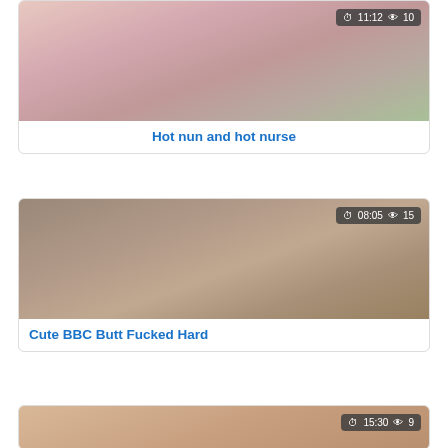[Figure (photo): Thumbnail image of video: Hot nun and hot nurse with badge showing 11:12 duration and 10 views]
Hot nun and hot nurse
[Figure (photo): Thumbnail image of video: Cute BBC Butt Fucked Hard with badge showing 08:05 duration and 15 views]
Cute BBC Butt Fucked Hard
[Figure (photo): Partial thumbnail image of video with badge showing 15:30 duration and 9 views]